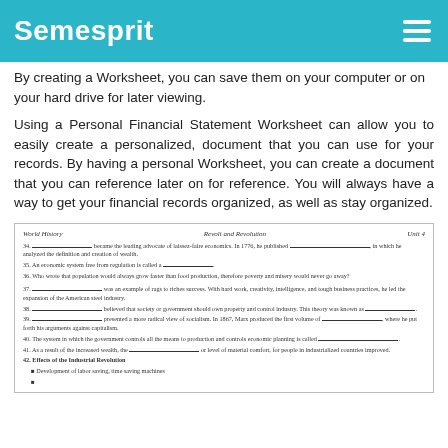Semesprit
By creating a Worksheet, you can save them on your computer or on your hard drive for later viewing.
Using a Personal Financial Statement Worksheet can allow you to easily create a personalized, document that you can use for your records. By having a personal Worksheet, you can create a document that you can reference later on for reference. You will always have a way to get your financial records organized, as well as stay organized.
[Figure (other): A World History worksheet titled 'Revolt and Revolution, Unit 4' with fill-in-the-blank questions numbered 34-42 and bullet points about effects of the Industrial Revolution.]